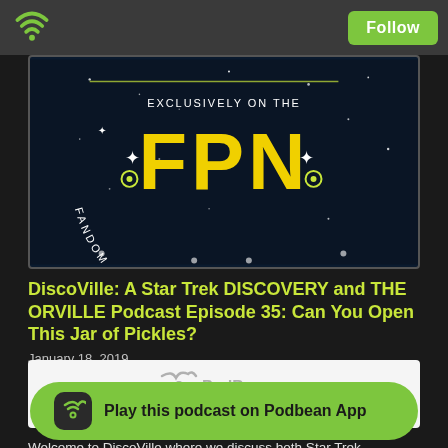[Figure (logo): Fandom Podcast Network (FPN) banner with dark space background, yellow FPN letters, and text 'EXCLUSIVELY ON THE FANDOM PODCAST NETWORK' arranged in an arc]
DiscoVille: A Star Trek DISCOVERY and THE ORVILLE Podcast Episode 35: Can You Open This Jar of Pickles?
January 18, 2019
[Figure (screenshot): PodBean audio player embed]
Welcome to DiscoVille where we discuss both Star Trek DISCOve... podcast Network. O... n of these
[Figure (logo): Play this podcast on Podbean App banner with green background and podcast/wifi icon]